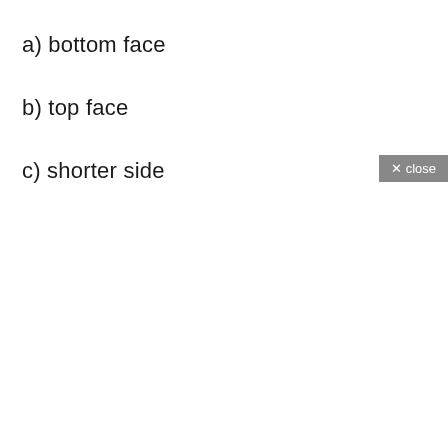a) bottom face
b) top face
c) shorter side